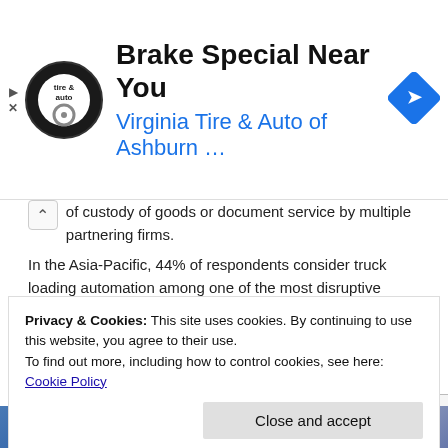[Figure (other): Advertisement banner for Virginia Tire & Auto of Ashburn with logo, headline 'Brake Special Near You', subheading in blue, and navigation icon]
of custody of goods or document service by multiple partnering firms.
In the Asia-Pacific, 44% of respondents consider truck loading automation among one of the most disruptive technologies compared to 28 percent globally.
SHARE
[Figure (other): Row of social share buttons: Facebook, Twitter, LinkedIn, Reddit, Tumblr, Pinterest, Telegram, Pocket, WhatsApp, and More]
Privacy & Cookies: This site uses cookies. By continuing to use this website, you agree to their use.
To find out more, including how to control cookies, see here: Cookie Policy
[Figure (other): Bottom strip showing two partially visible images]